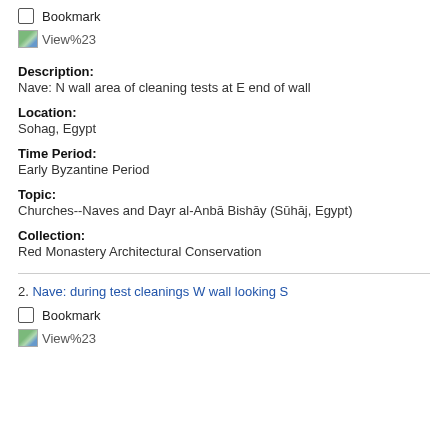Bookmark
[Figure (screenshot): View%23 thumbnail icon with image placeholder]
Description:
Nave: N wall area of cleaning tests at E end of wall
Location:
Sohag, Egypt
Time Period:
Early Byzantine Period
Topic:
Churches--Naves and Dayr al-Anbā Bishāy (Sūhāj, Egypt)
Collection:
Red Monastery Architectural Conservation
2. Nave: during test cleanings W wall looking S
Bookmark
[Figure (screenshot): View%23 thumbnail icon with image placeholder]